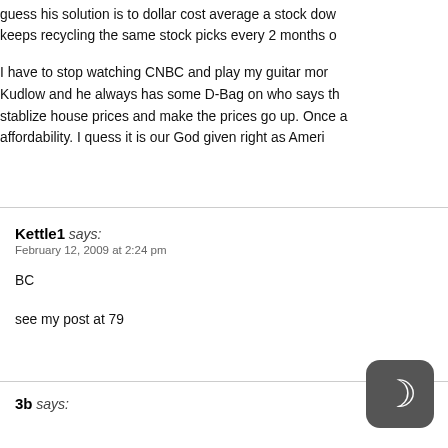guess his solution is to dollar cost average a stock down keeps recycling the same stock picks every 2 months o
I have to stop watching CNBC and play my guitar mor Kudlow and he always has some D-Bag on who says th stablize house prices and make the prices go up. Once a affordability. I quess it is our God given right as Ameri
Kettle1 says:
February 12, 2009 at 2:24 pm

BC

see my post at 79
3b says: